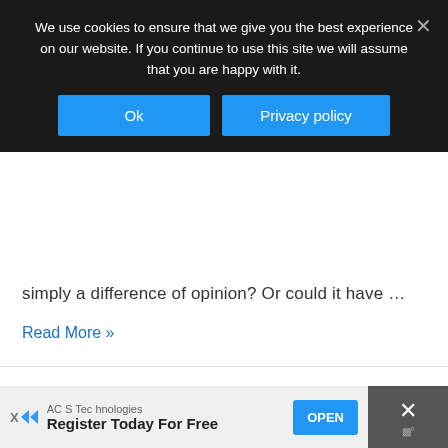We use cookies to ensure that we give you the best experience on our website. If you continue to use this site we will assume that you are happy with it.
Ok | Privacy policy
simply a difference of opinion?  Or could it have …
Read More »
13 Benefits of Unit Studies and How to Make Your Own
Homeschooling, How To, Lessons / By Michelle Caskey
AC S Technologies  Register Today For Free  OPEN